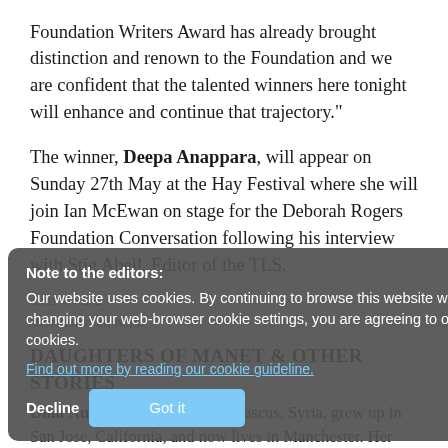Foundation Writers Award has already brought distinction and renown to the Foundation and we are confident that the talented winners here tonight will enhance and continue that trajectory.”
The winner, Deepa Anappara, will appear on Sunday 27th May at the Hay Festival where she will join Ian McEwan on stage for the Deborah Rogers Foundation Conversation following his interview with Stig Abell, Editor of the TLS.
Note to the editors: Our website uses cookies. By continuing to browse this website without changing your web-browser cookie settings, you are agreeing to our use of cookies. Find out more by reading our cookie guideline. [Decline] [Got it]
...ers Award shortlisted authors.
DAUGHTERS OF MANET & OTHER STORIES
Dina Nayat was born in Damascus, Syria, grew up in San Jose, California, and now lives in Manchester. Her stories have appeared in the...